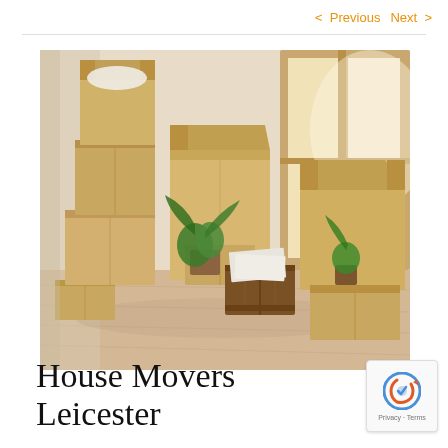< Previous   Next >
[Figure (photo): A room filled with stacked cardboard moving boxes of various sizes, two green houseplants, a wooden crate, and papers, with a large wooden-framed window letting in bright light in the background.]
House Movers Leicester